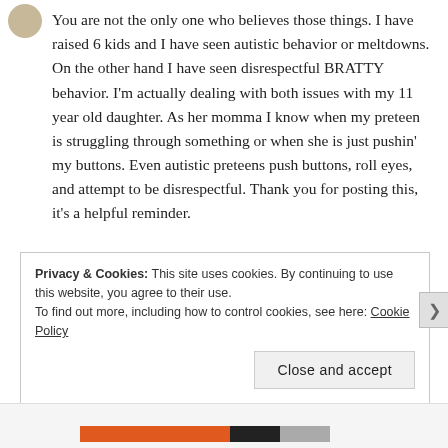You are not the only one who believes those things. I have raised 6 kids and I have seen autistic behavior or meltdowns. On the other hand I have seen disrespectful BRATTY behavior. I'm actually dealing with both issues with my 11 year old daughter. As her momma I know when my preteen is struggling through something or when she is just pushin' my buttons. Even autistic preteens push buttons, roll eyes, and attempt to be disrespectful. Thank you for posting this, it's a helpful reminder.
Privacy & Cookies: This site uses cookies. By continuing to use this website, you agree to their use. To find out more, including how to control cookies, see here: Cookie Policy